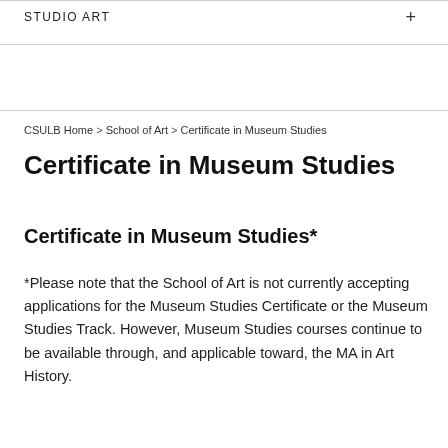STUDIO ART
CSULB Home > School of Art > Certificate in Museum Studies
Certificate in Museum Studies
Certificate in Museum Studies*
*Please note that the School of Art is not currently accepting applications for the Museum Studies Certificate or the Museum Studies Track. However, Museum Studies courses continue to be available through, and applicable toward, the MA in Art History.